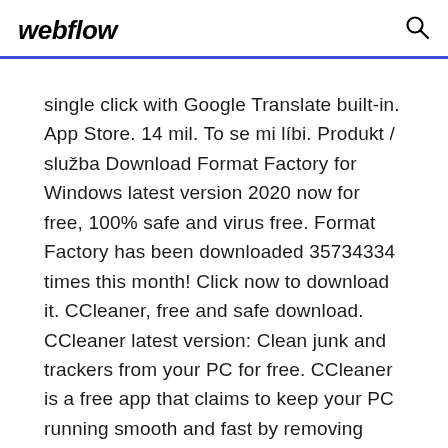webflow
single click with Google Translate built-in. App Store. 14 mil. To se mi líbi. Produkt / služba Download Format Factory for Windows latest version 2020 now for free, 100% safe and virus free. Format Factory has been downloaded 35734334 times this month! Click now to download it. CCleaner, free and safe download. CCleaner latest version: Clean junk and trackers from your PC for free. CCleaner is a free app that claims to keep your PC running smooth and fast by removing junk files.
See, Hear and Speak to Visitors. With Ring, you can monitor your